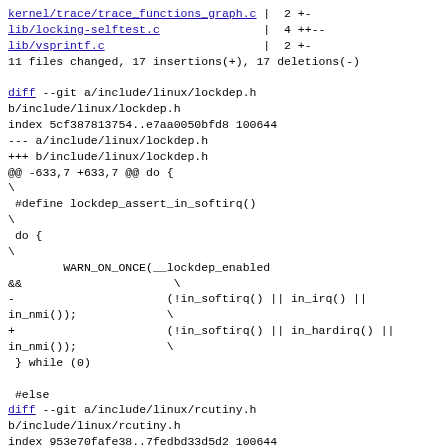kernel/trace/trace_functions_graph.c | 2 +-
lib/locking-selftest.c | 4 ++--
lib/vsprintf.c | 2 +-
11 files changed, 17 insertions(+), 17 deletions(-)
diff --git a/include/linux/lockdep.h b/include/linux/lockdep.h
index 5cf387813754..e7aa0050bfd8 100644
--- a/include/linux/lockdep.h
+++ b/include/linux/lockdep.h
@@ -633,7 +633,7 @@ do {
\
 #define lockdep_assert_in_softirq()
\
 do {
\
        WARN_ON_ONCE(__lockdep_enabled
&&                      \
-                      (!in_softirq() || in_irq() || in_nmi()));       \
+                      (!in_softirq() || in_hardirq() || in_nmi()));   \
 } while (0)

 #else
diff --git a/include/linux/rcutiny.h b/include/linux/rcutiny.h
index 953e70fafe38..7fedbd33d5d2 100644
--- a/include/linux/rcutiny.h
+++ b/include/linux/rcutiny.h
@@ -88,7 +88,7 @@ static inline void